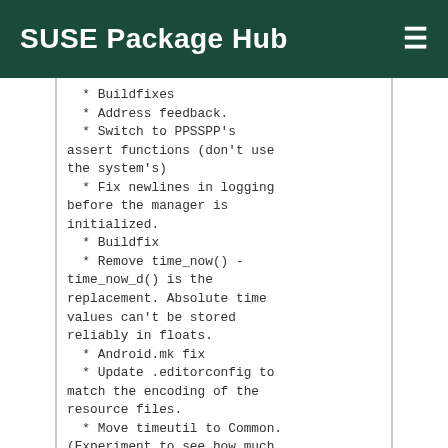SUSE Package Hub
* Buildfixes
  * Address feedback.
  * Switch to PPSSPP's assert functions (don't use the system's)
  * Fix newlines in logging before the manager is initialized.
  * Buildfix
  * Remove time_now() - time_now_d() is the replacement. Absolute time values can't be stored reliably in floats.
  * Android.mk fix
  * Update .editorconfig to match the encoding of the resource files.
  * Move timeutil to Common. (Experiment to see how much work it is to move these).
  * Address feedback
  * UWP buildfix
  * Vulkan: Fix tex upscaling 4444 swizzling.
  * Debugger: Oops, fix comment typos.
  * Finally delete base/logging.cpp/h. Carefully preserve behaviour on Android.
  * Fix build of ZimTool/AtlasTool. Had to